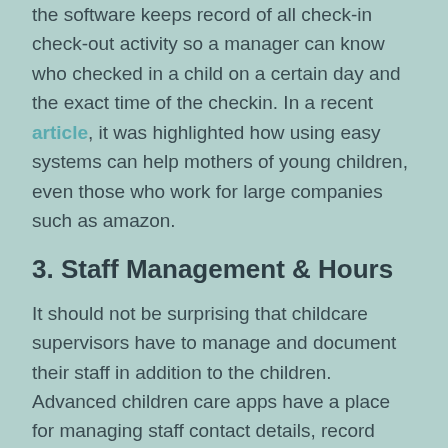the software keeps record of all check-in check-out activity so a manager can know who checked in a child on a certain day and the exact time of the checkin. In a recent article, it was highlighted how using easy systems can help mothers of young children, even those who work for large companies such as amazon.
3. Staff Management & Hours
It should not be surprising that childcare supervisors have to manage and document their staff in addition to the children. Advanced children care apps have a place for managing staff contact details, record keeping, certifications, reminders and more. In addition, they can track staff hours by allowing staff to punch-in and punch-out thus keeping track of hours and helping produce payroll forms.